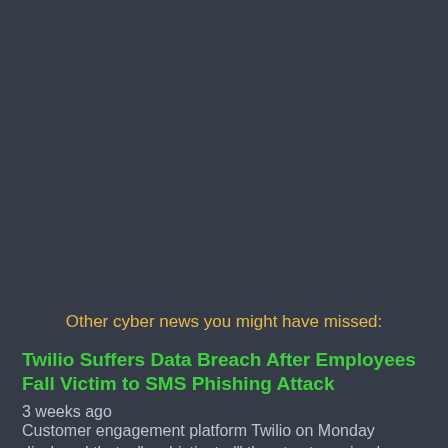Other cyber news you might have missed:
Twilio Suffers Data Breach After Employees Fall Victim to SMS Phishing Attack
3 weeks ago
Customer engagement platform Twilio on Monday disclosed that a "sophisticated" threat actor gained